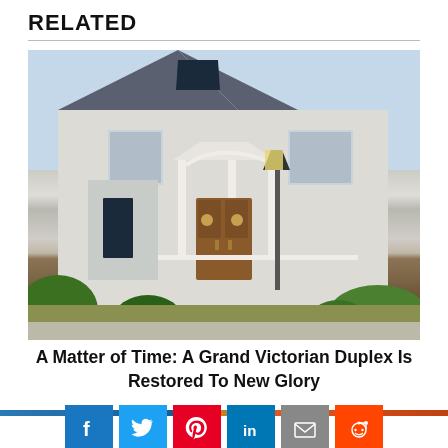RELATED
[Figure (photo): Exterior photograph of a grand white Victorian duplex with ornate porch columns, decorative trim, a wooden front door with circular window details, a street lamp in the foreground, and lush greenery surrounding the property.]
A Matter of Time: A Grand Victorian Duplex Is Restored To New Glory
[Figure (other): Social sharing buttons for Facebook, Twitter, Pinterest, LinkedIn, Email, and Reddit]